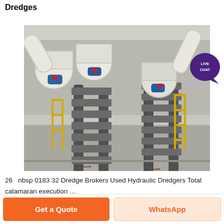Dredges
[Figure (photo): Industrial hydraulic dredging equipment inside a warehouse facility. Large white pipes, pumps, machinery components, and yellow metal scaffolding/railings visible. Multiple suction/discharge pipes and pump units arranged in rows.]
26   nbsp 0183 32 Dredge Brokers Used Hydraulic Dredgers Total catamaran execution …
Get a Quote
WhatsApp